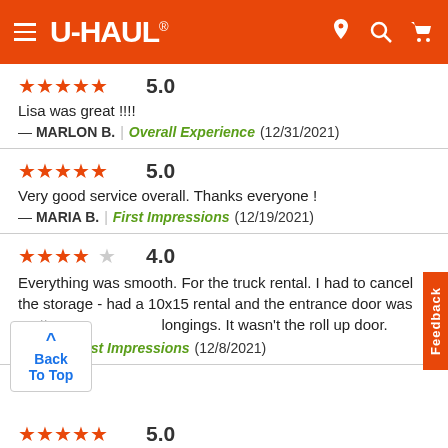U-HAUL
5.0
Lisa was great !!!!
— MARLON B. | Overall Experience (12/31/2021)
5.0
Very good service overall. Thanks everyone !
— MARIA B. | First Impressions (12/19/2021)
4.0
Everything was smooth. For the truck rental. I had to cancel the storage - had a 10x15 rental and the entrance door was pretty sma... longings. It wasn't the roll up door.
— ...s. | First Impressions (12/8/2021)
5.0